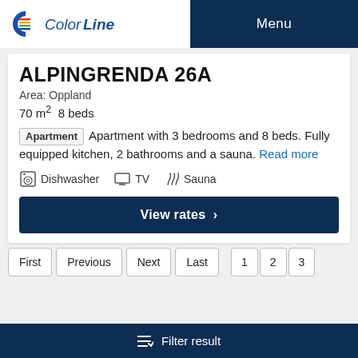Color Line | Menu
ALPINGRENDA 26A
Area: Oppland
70 m² 8 beds
Apartment  Apartment with 3 bedrooms and 8 beds. Fully equipped kitchen, 2 bathrooms and a sauna. Read more
Dishwasher  TV  Sauna
View rates >
First  Previous  Next  Last  1  2  3
Filter result